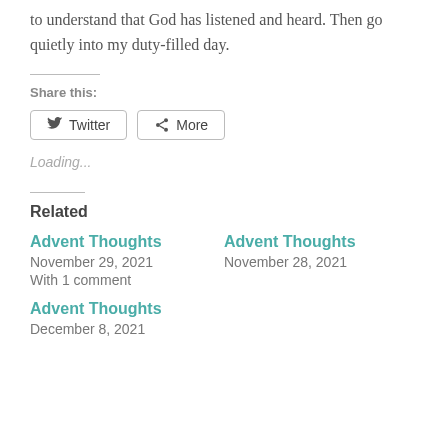to understand that God has listened and heard. Then go quietly into my duty-filled day.
Share this:
Twitter   More
Loading...
Related
Advent Thoughts
November 29, 2021
With 1 comment
Advent Thoughts
November 28, 2021
Advent Thoughts
December 8, 2021